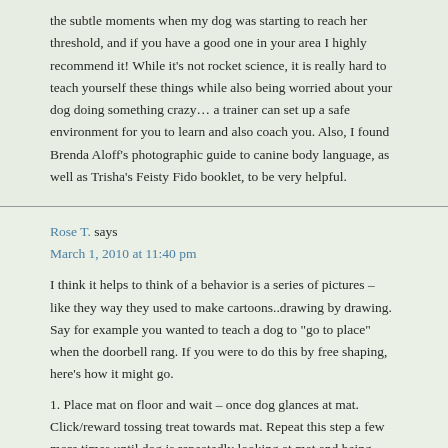the subtle moments when my dog was starting to reach her threshold, and if you have a good one in your area I highly recommend it! While it's not rocket science, it is really hard to teach yourself these things while also being worried about your dog doing something crazy… a trainer can set up a safe environment for you to learn and also coach you. Also, I found Brenda Aloff's photographic guide to canine body language, as well as Trisha's Feisty Fido booklet, to be very helpful.
Rose T. says
March 1, 2010 at 11:40 pm
I think it helps to think of a behavior is a series of pictures – like they way they used to make cartoons..drawing by drawing. Say for example you wanted to teach a dog to "go to place" when the doorbell rang. If you were to do this by free shaping, here's how it might go.
1. Place mat on floor and wait – once dog glances at mat. Click/reward tossing treat towards mat. Repeat this step a few more times until dog is repeatedly looking at mat and being